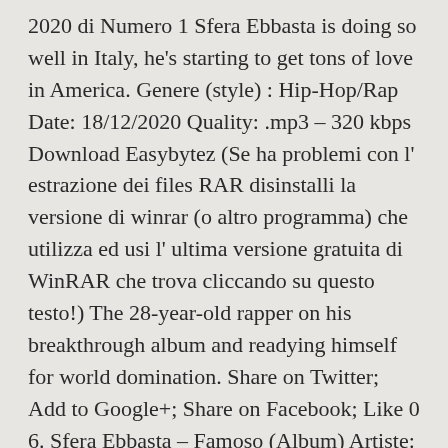2020 di Numero 1 Sfera Ebbasta is doing so well in Italy, he's starting to get tons of love in America. Genere (style) : Hip-Hop/Rap Date: 18/12/2020 Quality: .mp3 – 320 kbps Download Easybytez (Se ha problemi con l' estrazione dei files RAR disinstalli la versione di winrar (o altro programma) che utilizza ed usi l' ultima versione gratuita di WinRAR che trova cliccando su questo testo!) The 28-year-old rapper on his breakthrough album and readying himself for world domination. Share on Twitter; Add to Google+; Share on Facebook; Like 0 6. Sfera Ebbasta – Famoso (Album) Artiste: MIZIKOOS Publié en : 2020 Dans: POP, RAP INTERNAT., WORLD. Bottiglie Privè 2. by MIZIKOOS. After the editing of